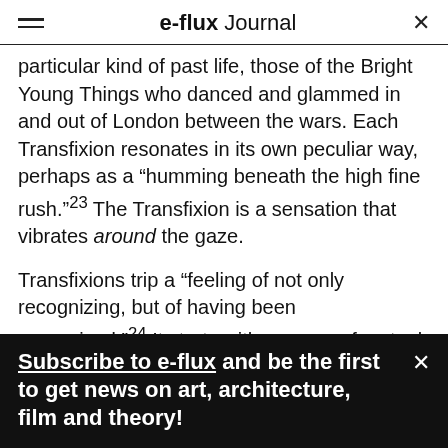e-flux Journal
particular kind of past life, those of the Bright Young Things who danced and glammed in and out of London between the wars. Each Transfixion resonates in its own peculiar way, perhaps as a “humming beneath the high fine rush.”²³ The Transfixion is a sensation that vibrates around the gaze.
Transfixions trip a “feeling of not only recognizing, but of having been recognized.”²⁴ It starts with a sense of mutual recognition, of the gaze being returned, but that’s not all. It engages the other senses, putting the gaze back in its place within a
Subscribe to e-flux and be the first to get news on art, architecture, film and theory!